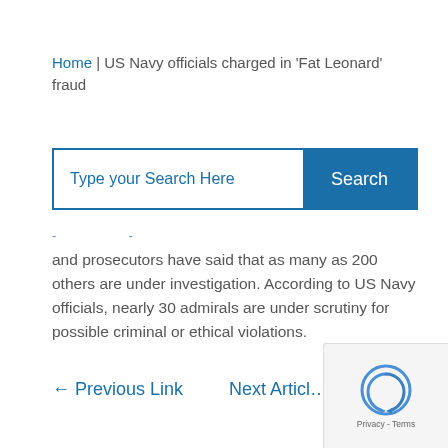Home | US Navy officials charged in 'Fat Leonard' fraud
[Figure (screenshot): Search box with placeholder text 'Type your Search Here' and a blue Search button]
and prosecutors have said that as many as 200 others are under investigation. According to US Navy officials, nearly 30 admirals are under scrutiny for possible criminal or ethical violations.
← Previous Link    Next Article